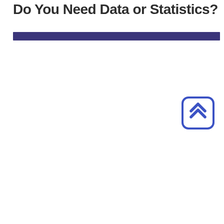Do You Need Data or Statistics?
[Figure (other): Purple horizontal divider bar below the title]
[Figure (other): Back to top button: rounded square with double chevron up arrow icon, blue border and blue chevrons on white background]